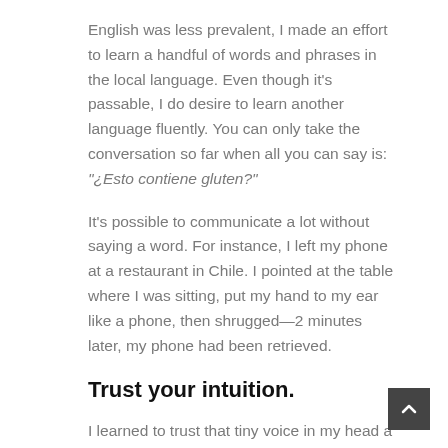English was less prevalent, I made an effort to learn a handful of words and phrases in the local language. Even though it's passable, I do desire to learn another language fluently. You can only take the conversation so far when all you can say is: "¿Esto contiene gluten?"
It's possible to communicate a lot without saying a word. For instance, I left my phone at a restaurant in Chile. I pointed at the table where I was sitting, put my hand to my ear like a phone, then shrugged—2 minutes later, my phone had been retrieved.
Trust your intuition.
I learned to trust that tiny voice in my head a bit more. When you are alone in a foreign country and your phone is dead, you are forced to trust your intuition. Is this neighborhood safe to walk around? Is this person